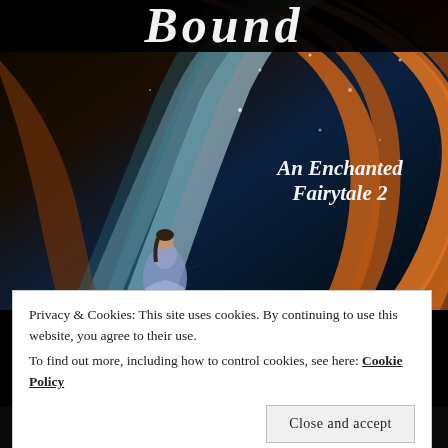[Figure (illustration): Book cover showing a woman in a blue dress standing in front of large sweeping pages of an open book with brown/orange edges, on a dark background with light sparkles/particles. Old English style title text 'Bound' partially visible at top, subtitle 'An Enchanted Fairytale 2' in the middle-right area, and author name 'Lorri Moulton' at the bottom.]
Privacy & Cookies: This site uses cookies. By continuing to use this website, you agree to their use.
To find out more, including how to control cookies, see here: Cookie Policy
Close and accept